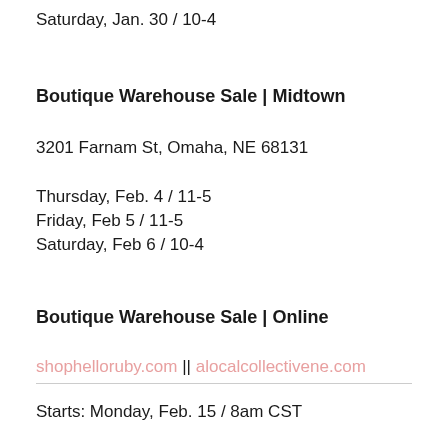Saturday, Jan. 30 / 10-4
Boutique Warehouse Sale | Midtown
3201 Farnam St, Omaha, NE 68131
Thursday, Feb. 4 / 11-5
Friday, Feb 5 / 11-5
Saturday, Feb 6 / 10-4
Boutique Warehouse Sale | Online
shophelloruby.com || alocalcollectivene.com
Starts: Monday, Feb. 15 / 8am CST